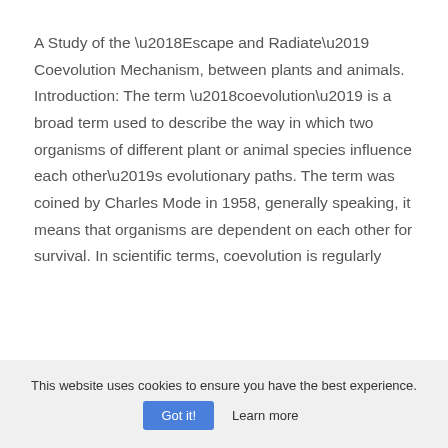A Study of the ‘Escape and Radiate’ Coevolution Mechanism, between plants and animals. Introduction: The term ‘coevolution’ is a broad term used to describe the way in which two organisms of different plant or animal species influence each other’s evolutionary paths. The term was coined by Charles Mode in 1958, generally speaking, it means that organisms are dependent on each other for survival. In scientific terms, coevolution is regularly
This website uses cookies to ensure you have the best experience. Got it! Learn more